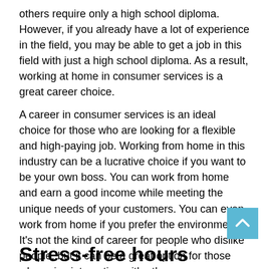others require only a high school diploma. However, if you already have a lot of experience in the field, you may be able to get a job in this field with just a high school diploma. As a result, working at home in consumer services is a great career choice.
A career in consumer services is an ideal choice for those who are looking for a flexible and high-paying job. Working from home in this industry can be a lucrative choice if you want to be your own boss. You can work from home and earn a good income while meeting the unique needs of your customers. You can even work from home if you prefer the environment. It's not the kind of career for people who dislike people, but it can be a great option for those who enjoy interacting with others.
Stress-free hours